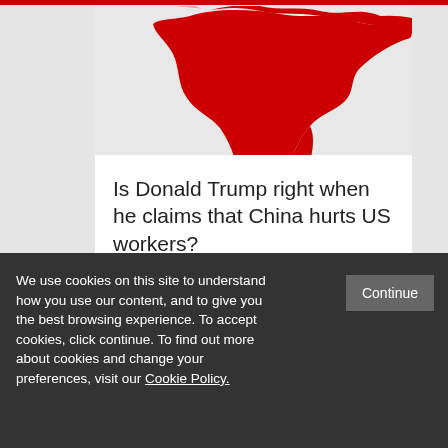[Figure (map): Red silhouette map of China on a light grey background, partially cropped at the top]
Is Donald Trump right when he claims that China hurts US workers?
JULY 8TH, 2016
Economics and Finance
We use cookies on this site to understand how you use our content, and to give you the best browsing experience. To accept cookies, click continue. To find out more about cookies and change your preferences, visit our Cookie Policy.